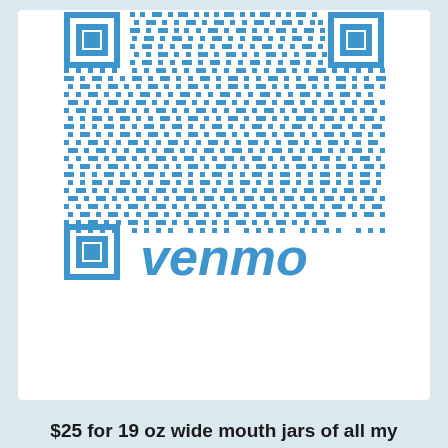[Figure (other): Venmo QR code in blue on white background, with the Venmo logo in blue italic text below the QR code]
$25 for 19 oz wide mouth jars of all my